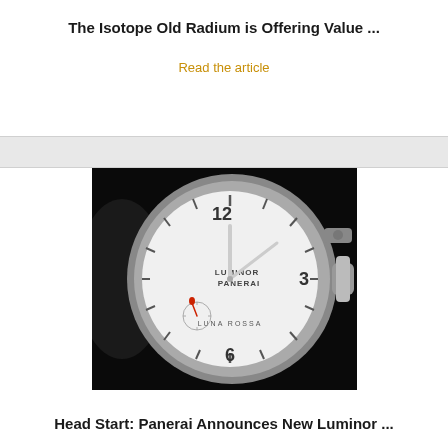The Isotope Old Radium is Offering Value ...
Read the article
[Figure (photo): Close-up photo of a Panerai Luminor Luna Rossa watch with white dial, silver hands, red seconds hand, on a black background.]
Head Start: Panerai Announces New Luminor ...
Read the article